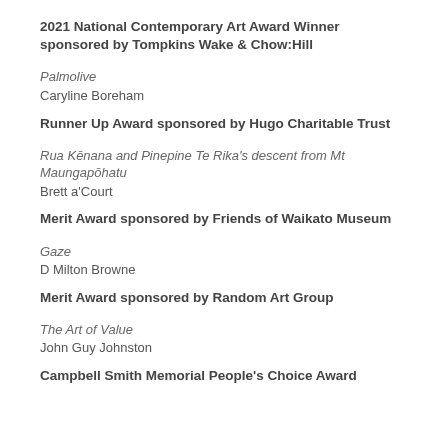2021 National Contemporary Art Award Winner sponsored by Tompkins Wake & Chow:Hill
Palmolive
Caryline Boreham
Runner Up Award sponsored by Hugo Charitable Trust
Rua Kēnana and Pinepine Te Rika's descent from Mt Maungapōhatu
Brett a'Court
Merit Award sponsored by Friends of Waikato Museum
Gaze
D Milton Browne
Merit Award sponsored by Random Art Group
The Art of Value
John Guy Johnston
Campbell Smith Memorial People's Choice Award